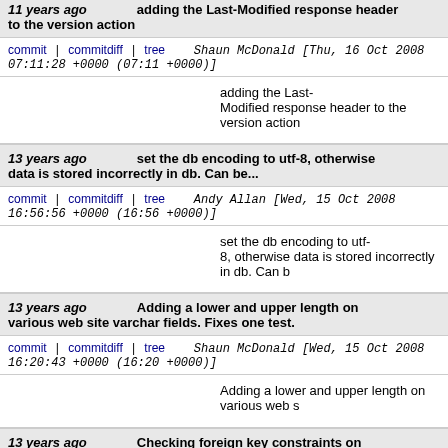11 years ago  adding the Last-Modified response header to the version action
commit | commitdiff | tree   Shaun McDonald [Thu, 16 Oct 2008 07:11:28 +0000 (07:11 +0000)]
adding the Last-Modified response header to the version action
13 years ago  set the db encoding to utf-8, otherwise data is stored incorrectly in db. Can be...
commit | commitdiff | tree   Andy Allan [Wed, 15 Oct 2008 16:56:56 +0000 (16:56 +0000)]
set the db encoding to utf-8, otherwise data is stored incorrectly in db. Can b
13 years ago  Adding a lower and upper length on various web site varchar fields. Fixes one test.
commit | commitdiff | tree   Shaun McDonald [Wed, 15 Oct 2008 16:20:43 +0000 (16:20 +0000)]
Adding a lower and upper length on various web s
13 years ago  Checking foreign key constraints on message recipients and senders